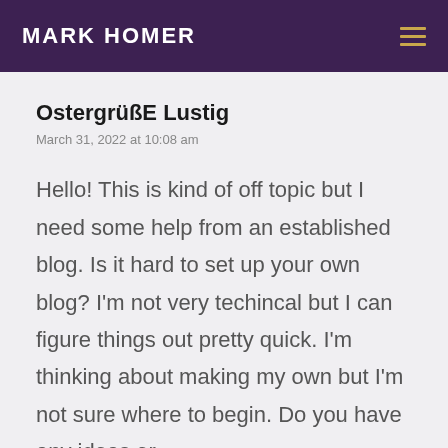MARK HOMER
OstergrüßE Lustig
March 31, 2022 at 10:08 am
Hello! This is kind of off topic but I need some help from an established blog. Is it hard to set up your own blog? I'm not very techincal but I can figure things out pretty quick. I'm thinking about making my own but I'm not sure where to begin. Do you have any ideas or